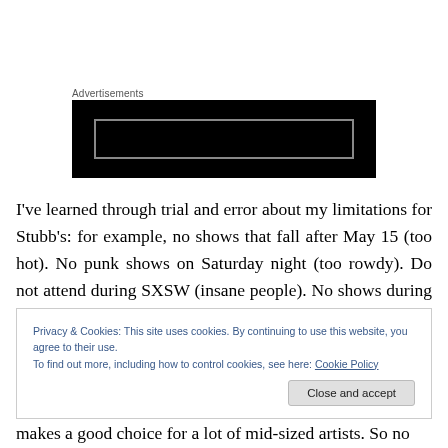Advertisements
[Figure (other): Black advertisement banner with a dark rectangle outline inside]
I've learned through trial and error about my limitations for Stubb's: for example, no shows that fall after May 15 (too hot). No punk shows on Saturday night (too rowdy). Do not attend during SXSW (insane people). No shows during tornado season (self-explanatory). But still, I've been to
Privacy & Cookies: This site uses cookies. By continuing to use this website, you agree to their use.
To find out more, including how to control cookies, see here: Cookie Policy
makes a good choice for a lot of mid-sized artists. So no